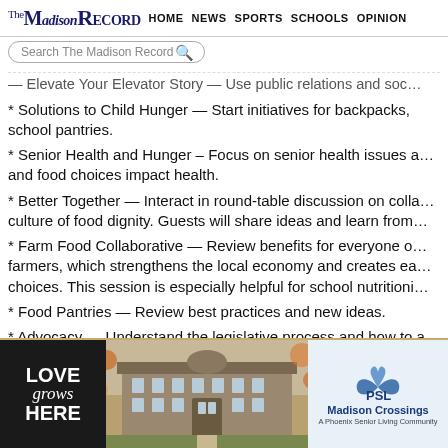The Madison Record — HOME  NEWS  SPORTS  SCHOOLS  OPINION
* Elevate Your Elevator Story — Use public relations and soc...
* Solutions to Child Hunger — Start initiatives for backpacks, school pantries.
* Senior Health and Hunger – Focus on senior health issues and food choices impact health.
* Better Together — Interact in round-table discussion on collaboration and culture of food dignity. Guests will share ideas and learn from...
* Farm Food Collaborative — Review benefits for everyone of supporting farmers, which strengthens the local economy and creates easier food choices. This session is especially helpful for school nutritioni...
* Food Pantries — Review best practices and new ideas.
* Advocacy — Understand the legislative process and how to a...
Publix Charities is sponsoring the summit. Dairy Alliance is sp...
[Figure (illustration): Advertisement banner for Madison Crossings A Phoenix Senior Living Community, showing 'LOVE grows HERE' text on dark background, building photo in center, and PSL logo with bird on right side]